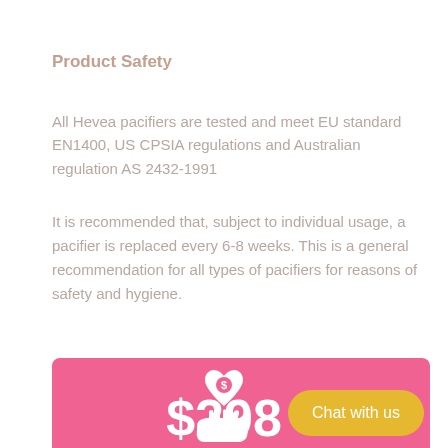Product Safety
All Hevea pacifiers are tested and meet EU standard EN1400, US CPSIA regulations and Australian regulation AS 2432-1991
It is recommended that, subject to individual usage, a pacifier is replaced every 6-8 weeks. This is a general recommendation for all types of pacifiers for reasons of safety and hygiene.
[Figure (infographic): Pink banner with white hand holding a heart with dollar sign icon, a yellow rounded 'Chat with us' button, and large white $298 price text]
$298